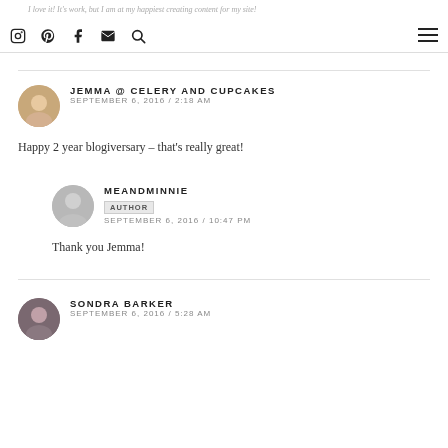I love it! It's work, but I am at my happiest creating content for my site!
JEMMA @ CELERY AND CUPCAKES
SEPTEMBER 6, 2016 / 2:18 AM
Happy 2 year blogiversary – that's really great!
MEANDMINNIE
AUTHOR
SEPTEMBER 6, 2016 / 10:47 PM
Thank you Jemma!
SONDRA BARKER
SEPTEMBER 6, 2016 / 5:28 AM